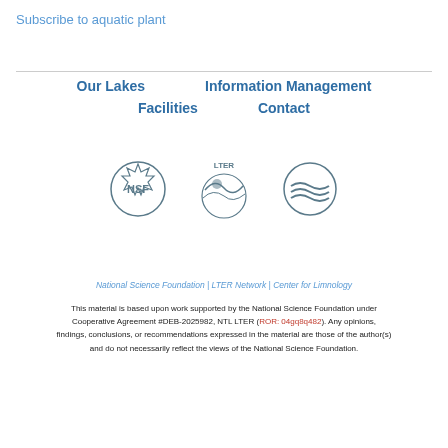Subscribe to aquatic plant
Our Lakes
Information Management
Facilities
Contact
[Figure (logo): Three logos: NSF (National Science Foundation), LTER Network, and Center for Limnology]
National Science Foundation | LTER Network | Center for Limnology
This material is based upon work supported by the National Science Foundation under Cooperative Agreement #DEB-2025982, NTL LTER (ROR: 04gq8q482). Any opinions, findings, conclusions, or recommendations expressed in the material are those of the author(s) and do not necessarily reflect the views of the National Science Foundation.